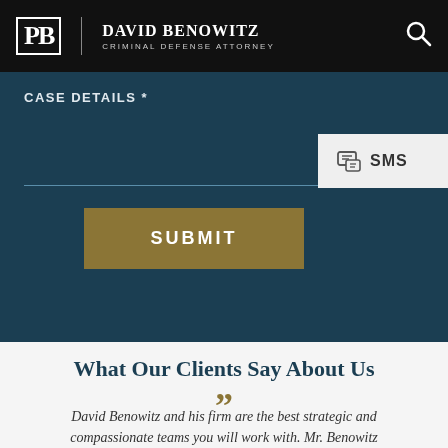David Benowitz Criminal Defense Attorney
CASE DETAILS *
[Figure (screenshot): SMS button overlay with phone/chat icon on light gray background]
SUBMIT
What Our Clients Say About Us
David Benowitz and his firm are the best strategic and compassionate teams you will work with. Mr. Benowitz